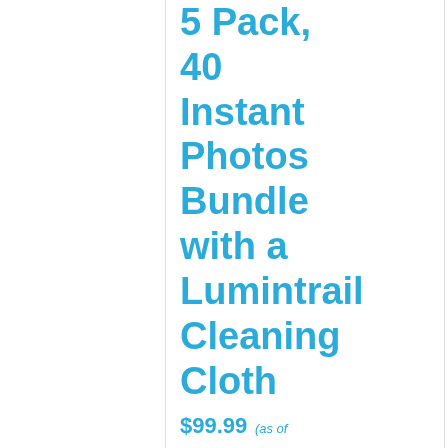5 Pack, 40 Instant Photos Bundle with a Lumintrail Cleaning Cloth
$99.99 (as of February 22, 2020, 4:07 pm)